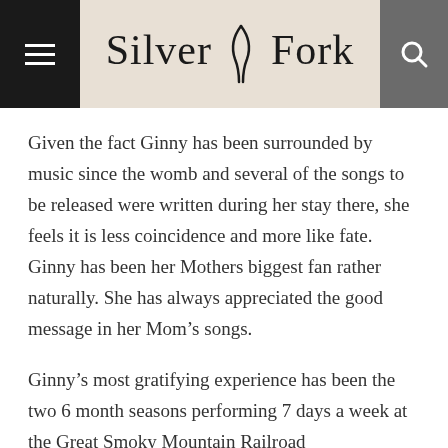Silver Fork
Given the fact Ginny has been surrounded by music since the womb and several of the songs to be released were written during her stay there, she feels it is less coincidence and more like fate. Ginny has been her Mothers biggest fan rather naturally. She has always appreciated the good message in her Mom’s songs.
Ginny’s most gratifying experience has been the two 6 month seasons performing 7 days a week at the Great Smoky Mountain Railroad